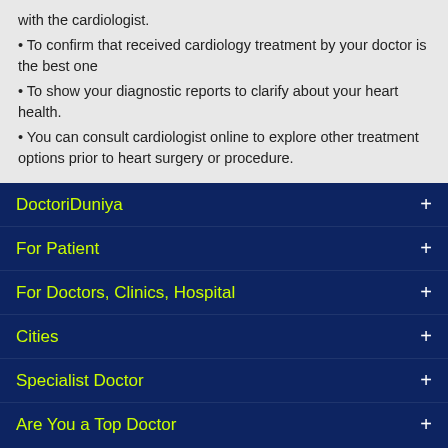with the cardiologist.
• To confirm that received cardiology treatment by your doctor is the best one
• To show your diagnostic reports to clarify about your heart health.
• You can consult cardiologist online to explore other treatment options prior to heart surgery or procedure.
DoctoriDuniya
For Patient
For Doctors, Clinics, Hospital
Cities
Specialist Doctor
Are You a Top Doctor
[Figure (logo): DoctoriDuniya logo with diamond cross icons on each side]
Copyright © 2019, DoctoriDuniya. All rights reserved.